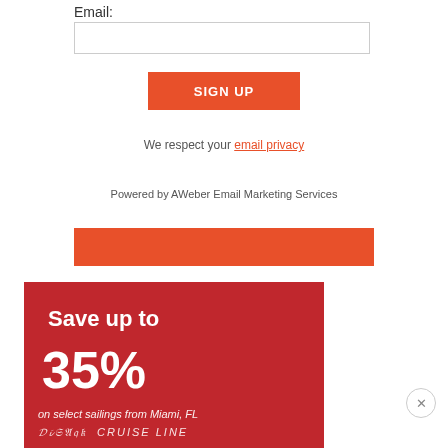Email:
[email input field]
SIGN UP
We respect your email privacy
Powered by AWeber Email Marketing Services
[Figure (other): Orange horizontal bar/button]
[Figure (other): Disney Cruise Line advertisement banner: red background with white text reading 'Save up to 35% on select sailings from Miami, FL' with Disney Cruise Line logo]
X close button